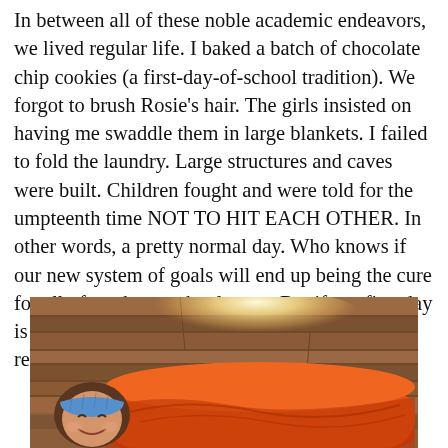In between all of these noble academic endeavors, we lived regular life. I baked a batch of chocolate chip cookies (a first-day-of-school tradition). We forgot to brush Rosie's hair. The girls insisted on having me swaddle them in large blankets. I failed to fold the laundry. Large structures and caves were built. Children fought and were told for the umpteenth time NOT TO HIT EACH OTHER. In other words, a pretty normal day. Who knows if our new system of goals will end up being the cure for all of our homeschool woes. But if our first day is any indication of the success of this year, I'm ready to give it a try!
[Figure (photo): A child swaddled tightly in a large orange blanket lying on a wooden floor, wearing a blue knit headband, smiling at the camera. Bright light visible in the background on the wood floor.]